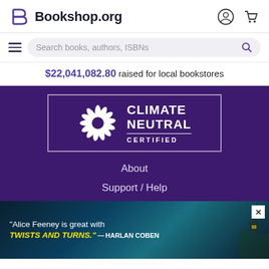[Figure (logo): Bookshop.org logo with stylized B icon and site name, plus account and cart icons in header]
Search books, authors, ISBNs
$22,041,082.80 raised for local bookstores
[Figure (logo): Climate Neutral Certified badge with sunburst icon on purple background]
About
Support / Help
[Figure (screenshot): Advertisement showing Alice Feeney book with quote: 'Alice Feeney is great with TWISTS AND TURNS.' — HARLAN COBEN, with dark ocean cliff background]